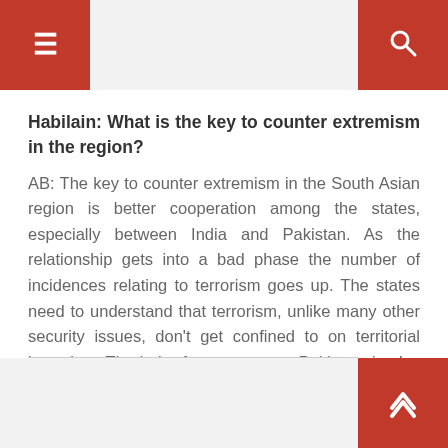≡  [menu]  [search]
Habilain: What is the key to counter extremism in the region?
AB: The key to counter extremism in the South Asian region is better cooperation among the states, especially between India and Pakistan. As the relationship gets into a bad phase the number of incidences relating to terrorism goes up. The states need to understand that terrorism, unlike many other security issues, don't get confined to on territorial boundary. The hub of terror groups, Pakistan, is also one of the worst victims of terrorism.
[back to top]